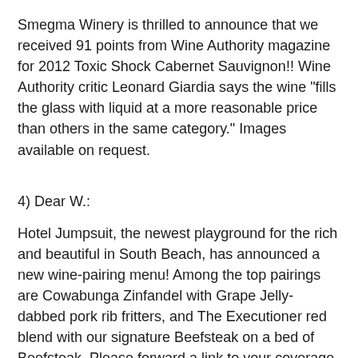Smegma Winery is thrilled to announce that we received 91 points from Wine Authority magazine for 2012 Toxic Shock Cabernet Sauvignon!! Wine Authority critic Leonard Giardia says the wine "fills the glass with liquid at a more reasonable price than others in the same category." Images available on request.
4) Dear W.:
Hotel Jumpsuit, the newest playground for the rich and beautiful in South Beach, has announced a new wine-pairing menu! Among the top pairings are Cowabunga Zinfandel with Grape Jelly-dabbed pork rib fritters, and The Executioner red blend with our signature Beefsteak on a bed of Beefsteak. Please forward a link to your coverage of this story.
5) Dear W.:
I'm just circling back around to see if you got my email about